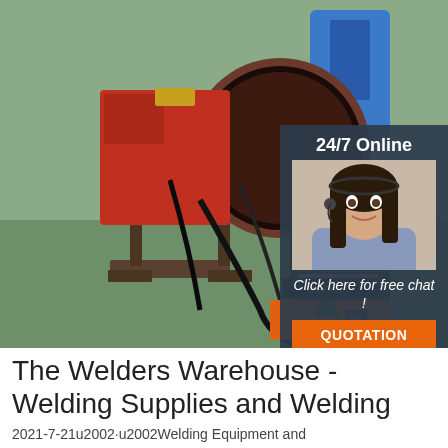[Figure (photo): A welding positioner machine with a large cylindrical pipe mounted on it, red and black industrial welding equipment in a factory setting. An overlay panel on the right shows '24/7 Online' text, a customer service agent photo, 'Click here for free chat!' text, and an orange QUOTATION button.]
The Welders Warehouse - Welding Supplies and Welding
2021-7-21u2002·u2002Welding Equipment and